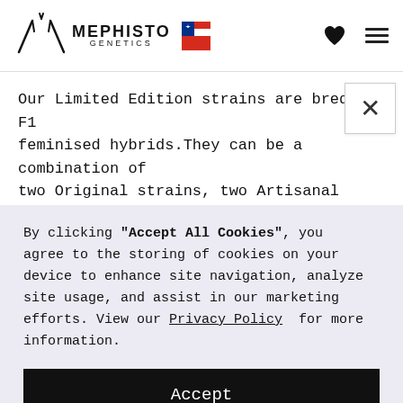Mephisto Genetics logo and navigation header
Our Limited Edition strains are bred as F1 feminised hybrids.They can be a combination of two Original strains, two Artisanal strain
By clicking "Accept All Cookies", you agree to the storing of cookies on your device to enhance site navigation, analyze site usage, and assist in our marketing efforts. View our Privacy Policy for more information.
Accept
Deny
Preferences